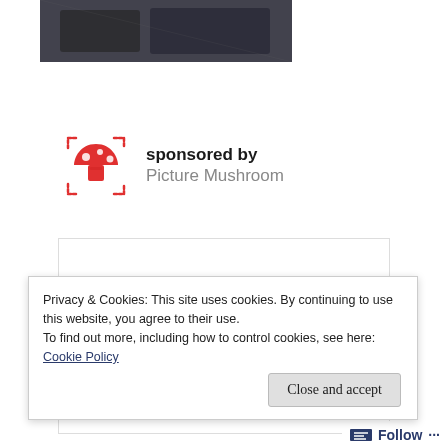[Figure (photo): Dark image thumbnail at the top of the page, appears to show a shadowy figure or scene]
sponsored by
Picture Mushroom
[Figure (logo): Picture Mushroom app logo: red mushroom with white spots inside a dashed red rounded square bracket frame]
[Figure (other): White advertisement box with border]
Privacy & Cookies: This site uses cookies. By continuing to use this website, you agree to their use.
To find out more, including how to control cookies, see here: Cookie Policy
Close and accept
Follow